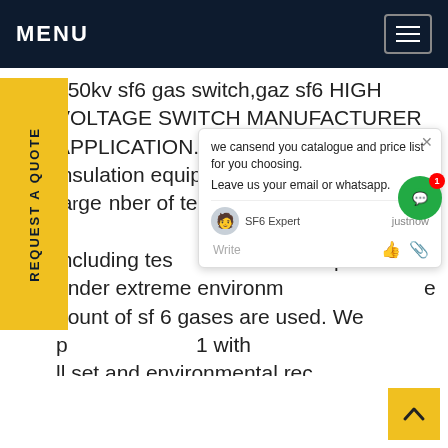MENU
750kv sf6 gas switch,gaz sf6 HIGH VOLTAGE SWITCH MANUFACTURER APPLICATION. Manufacturers of sf 6 insulation equipment need to carry out a large number of tests during the research and development process, including tests of equipment under extreme environments. Large amount of sf 6 gases are used. We provide you with full set and environmental rec
REQUEST A QUOTE
[Figure (screenshot): Chat popup overlay: 'we cansend you catalogue and price list for you choosing. Leave us your email or whatsapp.' with SF6 Expert avatar, 'justnow' timestamp, Write input with thumbs up and attachment icons. Green chat button with notification badge '1'.]